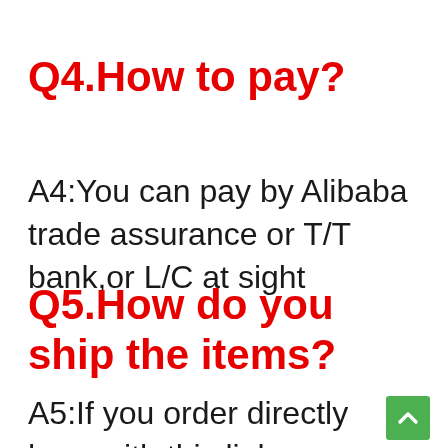Q4.How to pay?
A4:You can pay by Alibaba trade assurance or T/T bank,or L/C at sight
Q5.How do you ship the items?
A5:If you order directly here with this link,you can select the shipping